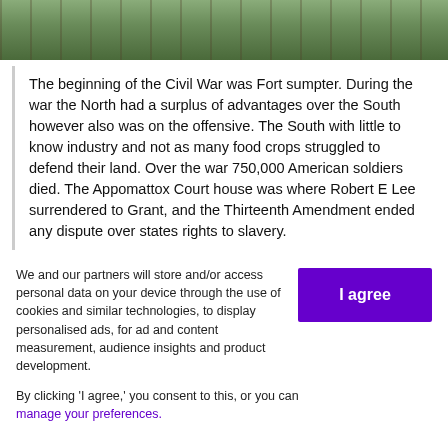[Figure (illustration): Bottom portion of a Civil War era painting showing soldiers' legs and feet on ground with grass and dirt]
The beginning of the Civil War was Fort sumpter. During the war the North had a surplus of advantages over the South however also was on the offensive. The South with little to know industry and not as many food crops struggled to defend their land. Over the war 750,000 American soldiers died. The Appomattox Court house was where Robert E Lee surrendered to Grant, and the Thirteenth Amendment ended any dispute over states rights to slavery.
We and our partners will store and/or access personal data on your device through the use of cookies and similar technologies, to display personalised ads, for ad and content measurement, audience insights and product development.
By clicking 'I agree,' you consent to this, or you can manage your preferences.